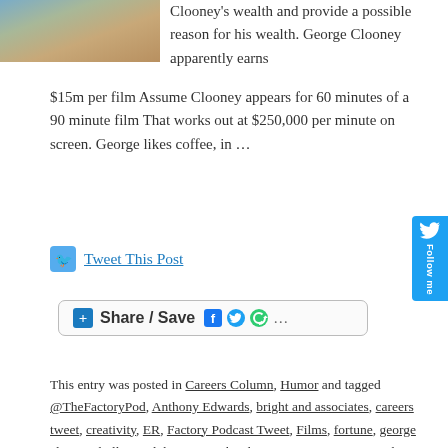[Figure (photo): Photo of a woman, partially visible at top left]
Clooney's wealth and provide a possible reason for his wealth. George Clooney apparently earns $15m per film Assume Clooney appears for 60 minutes of a 90 minute film That works out at $250,000 per minute on screen. George likes coffee, in ...
Tweet This Post
[Figure (screenshot): Share / Save button with social media icons]
This entry was posted in Careers Column, Humor and tagged @TheFactoryPod, Anthony Edwards, bright and associates, careers tweet, creativity, ER, Factory Podcast Tweet, Films, fortune, george clooney, hollywood, humor, jim bright, Lavazza, LED TV, Noah Wylie, rich, Sherry Stringfield, Sony, success, wealth on December 30, 2011 by Jim B.